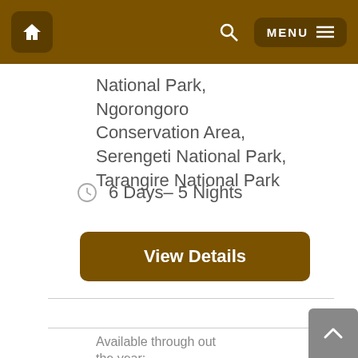Home | Search | MENU
National Park, Ngorongoro Conservation Area, Serengeti National Park, Tarangire National Park
6 Days– 5 Nights
View Details
Available through out the year:
Jan  Feb  Mar  Apr  May
Jun  Jul  Aug  Sep  Oct  Nov
Dec